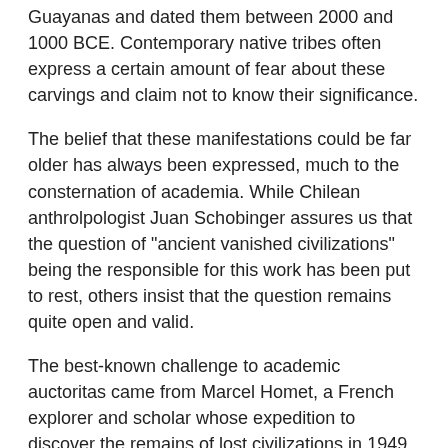Guayanas and dated them between 2000 and 1000 BCE. Contemporary native tribes often express a certain amount of fear about these carvings and claim not to know their significance.
The belief that these manifestations could be far older has always been expressed, much to the consternation of academia. While Chilean anthrolpologist Juan Schobinger assures us that the question of "ancient vanished civilizations" being the responsible for this work has been put to rest, others insist that the question remains quite open and valid.
The best-known challenge to academic auctoritas came from Marcel Homet, a French explorer and scholar whose expedition to discover the remains of lost civilizations in 1949 is chronicled in the book The Children of the Sun. Homet's Amazonian guides regaled him with stories of ruins far up the course of the Uraricoera River, and the researcher himself faced a number of perils (carnivorous plants, etc.). Homet's work has been largely discredited, but his observations on Pedra Pintada deserve to be commented